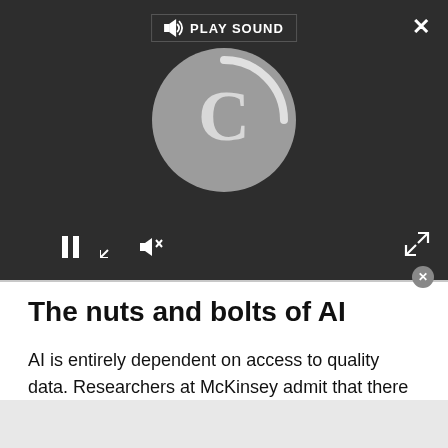[Figure (screenshot): Video player UI with dark background showing a loading/buffering spinner (large circular arrow icon), a PLAY SOUND button at top, pause/stop/volume controls at bottom, a close X button at top right, and an expand/fullscreen arrow at bottom right.]
The nuts and bolts of AI
AI is entirely dependent on access to quality data. Researchers at McKinsey admit that there are no shortcuts for firms, when it comes to utilizing AI. Its dependence on a digital foundation and access to quality data means that organizations must have the proper systems and data sets in place before they